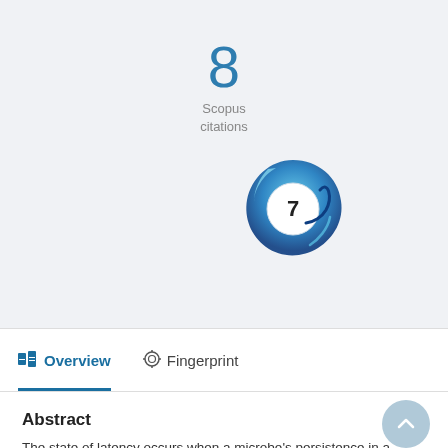8
Scopus
citations
[Figure (other): Circular badge/rosette graphic showing the number 7, with blue swirling ring design — likely a citation impact indicator badge]
Overview
Fingerprint
Abstract
The state of latency occurs when a microbe's persistence in a